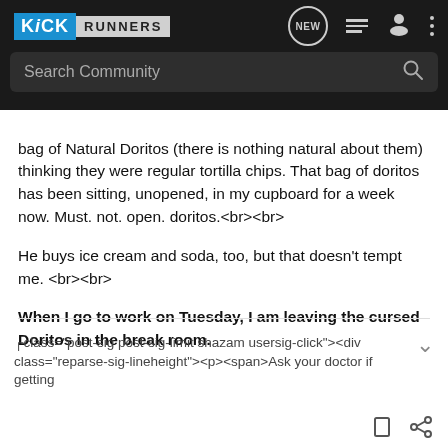[Figure (screenshot): KickRunners community forum app navigation bar with logo, search bar, and icons]
bag of Natural Doritos (there is nothing natural about them) thinking they were regular tortilla chips. That bag of doritos has been sitting, unopened, in my cupboard for a week now. Must. not. open. doritos.<br><br>
He buys ice cream and soda, too, but that doesn't tempt me.<br><br>
When I go to work on Tuesday, I am leaving the cursed Doritos in the break room.
⌐<div class="post-sig post-sig-limit shazam usersig-click"><div class="reparse-sig-lineheight"><p><span>Ask your doctor if getting